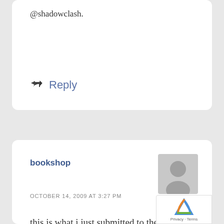@shadowclash.
Reply
bookshop
OCTOBER 14, 2009 AT 3:27 PM
this is what i just submitted to the newspaper article!
At the time I first read Twisted, I was tutoring kids on probation in southern Indiana. These were teens